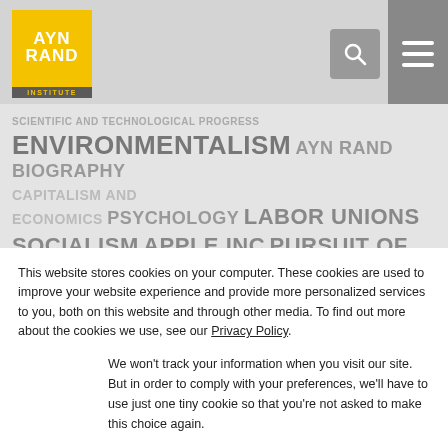Ayn Rand Institute
[Figure (screenshot): Tag cloud with topics: SCIENTIFIC AND TECHNOLOGICAL PROGRESS, ENVIRONMENTALISM, AYN RAND BIOGRAPHY, CAPITALISM AND ECONOMICS, PSYCHOLOGY, LABOR UNIONS, SOCIALISM, APPLE INC, PURSUIT OF HAPPINESS, AFGHANISTAN, ANTHEM, EGOISM AND SELFISHNESS, SCIENCE, INTELLECTUAL PROPERTY, FOREIGN POLICY, ANTITRUST, ART, DEPARTMENT OF JUSTICE, MORALITY OF CAPITALISM]
This website stores cookies on your computer. These cookies are used to improve your website experience and provide more personalized services to you, both on this website and through other media. To find out more about the cookies we use, see our Privacy Policy.
We won't track your information when you visit our site. But in order to comply with your preferences, we'll have to use just one tiny cookie so that you're not asked to make this choice again.